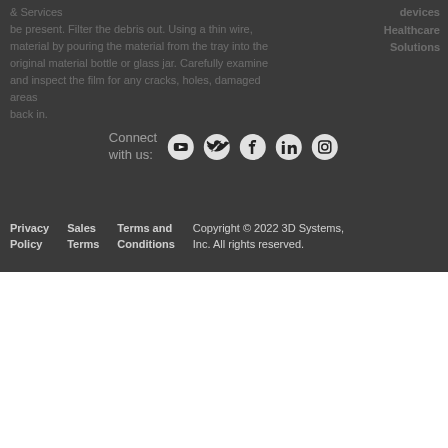& Services
be present. Filter the debris out. Using a thin wire, material by pouring the material from the tray into the original material bottle or glass jar. Carefully examine and inspect the film for any cracks, holes, damaged areas back in.
devices
Healthcare
Solutions
Connect with us:
Privacy Policy   Sales Terms   Terms and Conditions   Copyright © 2022 3D Systems, Inc. All rights reserved.
CAUTION: Do NOT press down on the film when stirring.
3. Remove parts from print platform soon after printing.

Remove large parts within six hours of the end of a print, and all smaller parts within 24 hours from the end of a print. Due to the elastic nature of the material, and gravity, failure to do this risks the part detaching from the print platform